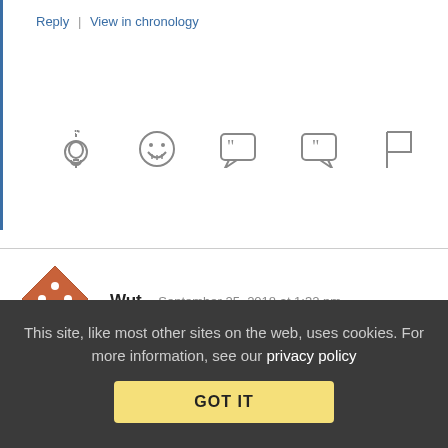Reply | View in chronology
[Figure (other): Row of action icons: lightbulb, laugh emoji, left-quote speech bubble, right-quote speech bubble, flag]
[Figure (logo): Orange diamond avatar with four dots arranged in a square pattern]
Wut   September 25, 2018 at 1:32 pm
Where was this?
I've tried three different browsers and can't see any embedded document. Can someone share a link to the actual court decision? Thanks!
This site, like most other sites on the web, uses cookies. For more information, see our privacy policy
GOT IT